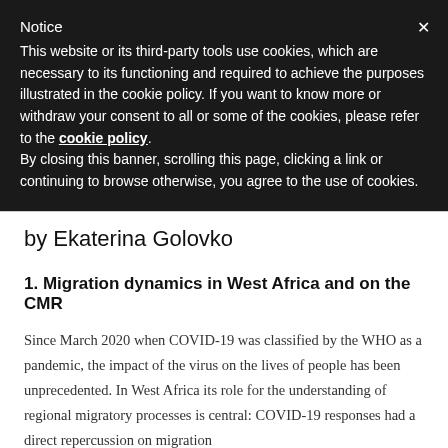Notice
This website or its third-party tools use cookies, which are necessary to its functioning and required to achieve the purposes illustrated in the cookie policy. If you want to know more or withdraw your consent to all or some of the cookies, please refer to the cookie policy. By closing this banner, scrolling this page, clicking a link or continuing to browse otherwise, you agree to the use of cookies.
by Ekaterina Golovko
1. Migration dynamics in West Africa and on the CMR
Since March 2020 when COVID-19 was classified by the WHO as a pandemic, the impact of the virus on the lives of people has been unprecedented. In West Africa its role for the understanding of regional migratory processes is central: COVID-19 responses had a direct repercussion on migration